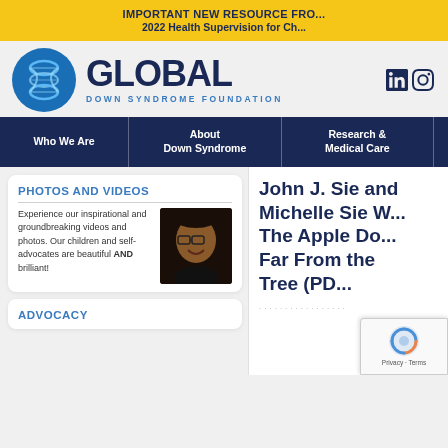IMPORTANT NEW RESOURCE FRO... 2022 Health Supervision for Ch...
[Figure (logo): Global Down Syndrome Foundation logo with circular DNA/helix icon in blue and teal, and social media icons (LinkedIn, Instagram)]
Who We Are | About Down Syndrome | Research & Medical Care
PHOTOS AND VIDEOS
Experience our inspirational and groundbreaking videos and photos. Our children and self-advocates are beautiful AND brilliant!
[Figure (photo): Portrait photo of a person wearing glasses and smiling, dark background]
ADVOCACY
John J. Sie and Michelle Sie W... The Apple Do... Far From the Tree (PD...